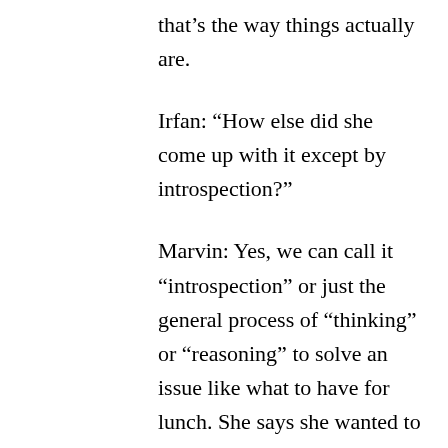that's the way things actually are.
Irfan: “How else did she come up with it except by introspection?”
Marvin: Yes, we can call it “introspection” or just the general process of “thinking” or “reasoning” to solve an issue like what to have for lunch. She says she wanted to eat something that tastes good, but that would also be good for her. Not too many calories. Not